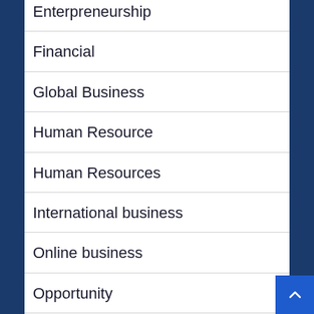Enterpreneurship
Financial
Global Business
Human Resource
Human Resources
International business
Online business
Opportunity
Profesional Service